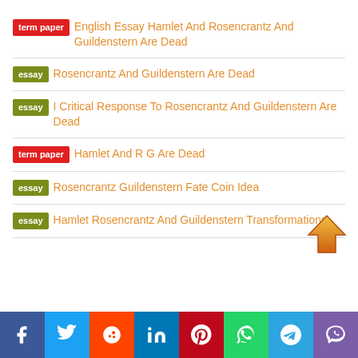term paper  English Essay Hamlet And Rosencrantz And Guildenstern Are Dead
essay  Rosencrantz And Guildenstern Are Dead
essay  I Critical Response To Rosencrantz And Guildenstern Are Dead
term paper  Hamlet And R G Are Dead
essay  Rosencrantz Guildenstern Fate Coin Idea
essay  Hamlet Rosencrantz And Guildenstern Transformations
[Figure (infographic): Social sharing bar with icons: Facebook, Twitter, Reddit, LinkedIn, Pinterest, WhatsApp, Telegram, Viber]